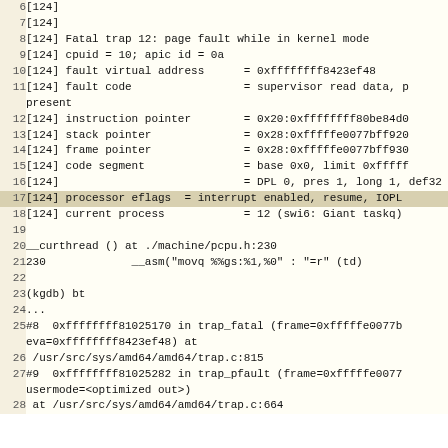Code/debug output showing kernel trap and stack trace, lines 6-28
6  [124]
7  [124]
8  [124] Fatal trap 12: page fault while in kernel mode
9  [124] cpuid = 10; apic id = 0a
10 [124] fault virtual address      = 0xffffffff8423ef48
11 [124] fault code                 = supervisor read data, p present
12 [124] instruction pointer        = 0x20:0xffffffff80be84d0
13 [124] stack pointer              = 0x28:0xfffffe0077bff920
14 [124] frame pointer              = 0x28:0xfffffe0077bff930
15 [124] code segment               = base 0x0, limit 0xfffff
16 [124]                            = DPL 0, pres 1, long 1, def32 0,
17 [124] processor eflags  = interrupt enabled, resume, IOPL
18 [124] current process            = 12 (swi6: Giant taskq)
19
20 __curthread () at ./machine/pcpu.h:230
21 230             __asm("movq %%gs:%1,%0" : "=r" (td)
22
23 (kgdb) bt
24 ...
25 #8  0xffffffff81025170 in trap_fatal (frame=0xfffffe0077b eva=0xffffffff8423ef48) at
26  /usr/src/sys/amd64/amd64/trap.c:815
27 #9  0xffffffff81025282 in trap_pfault (frame=0xfffffe0077 usermode=<optimized out>)
28  at /usr/src/sys/amd64/amd64/trap.c:664